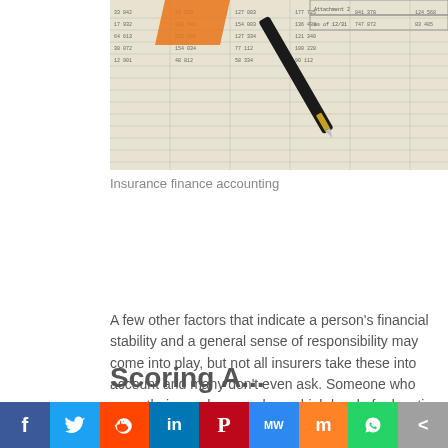[Figure (photo): Photo of insurance finance accounting spreadsheet with columns of numbers and a black pen with gold tip, plus orange highlighted tab]
Insurance finance accounting
A few other factors that indicate a person's financial stability and a general sense of responsibility may come into play, but not all insurers take these into account and many don't even ask. Someone who owns their own home or has a high level of education may pay slightly less, while someone with a criminal record, and sometimes even unmarried people, may have to fork over somewhat more.
f  t  (reddit)  in  P  MW  m  (whatsapp)  <